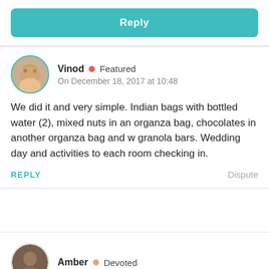[Figure (other): Teal Reply button]
Vinod • Featured
On December 18, 2017 at 10:48
We did it and very simple. Indian bags with bottled water (2), mixed nuts in an organza bag, chocolates in another organza bag and w granola bars. Wedding day and activities to each room checking in.
REPLY    Dispute
Amber • Devoted